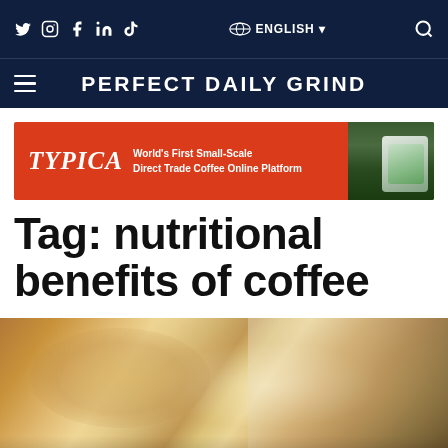Twitter Instagram Facebook LinkedIn TikTok | ɑG ENGLISH | Search
PERFECT DAILY GRIND
[Figure (infographic): TYPICA advertisement banner: red background with TYPICA logo and text 'World's First Small-Scale Direct Trade Coffee Online Platform', with a photo of a phone on the right]
Tag: nutritional benefits of coffee
[Figure (photo): A person pouring coffee, hands visible holding a golden/metallic vessel, blurred background, warm tones]